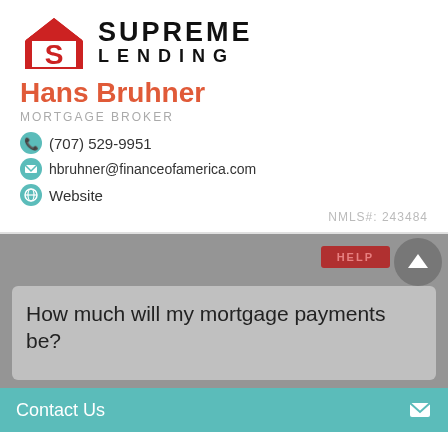[Figure (logo): Supreme Lending logo with red house/S icon and SUPREME LENDING text]
Hans Bruhner
MORTGAGE BROKER
(707) 529-9951
hbruhner@financeofamerica.com
Website
NMLS#: 243484
How much will my mortgage payments be?
Contact Us